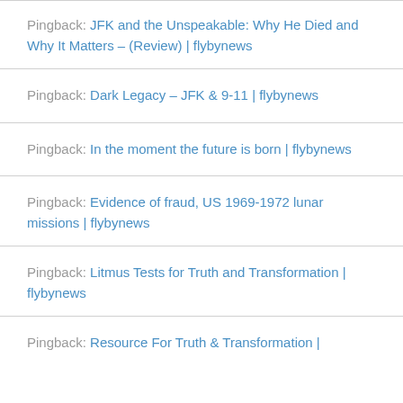Pingback: JFK and the Unspeakable: Why He Died and Why It Matters – (Review) | flybynews
Pingback: Dark Legacy – JFK & 9-11 | flybynews
Pingback: In the moment the future is born | flybynews
Pingback: Evidence of fraud, US 1969-1972 lunar missions | flybynews
Pingback: Litmus Tests for Truth and Transformation | flybynews
Pingback: Resource For Truth & Transformation |